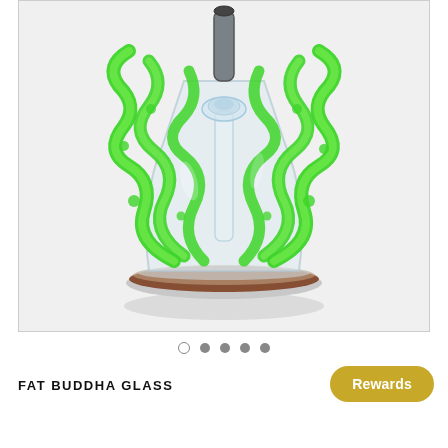[Figure (photo): A decorative glass water pipe (bong) with elaborate green glass snake/vine-like coils wrapping around a clear glass beaker base. The piece has a clear bowl/downstem in the center, and a brown ring at the base. The background is white/light gray.]
○ ● ● ● ●
FAT BUDDHA GLASS
Rewards